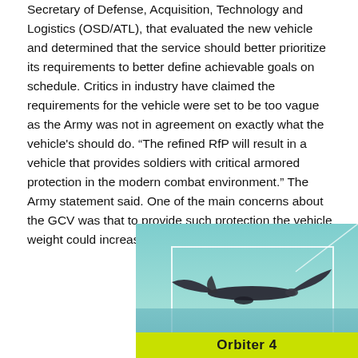Secretary of Defense, Acquisition, Technology and Logistics (OSD/ATL), that evaluated the new vehicle and determined that the service should better prioritize its requirements to better define achievable goals on schedule. Critics in industry have claimed the requirements for the vehicle were set to be too vague as the Army was not in agreement on exactly what the vehicle's should do. “The refined RfP will result in a vehicle that provides soldiers with critical armored protection in the modern combat environment.” The Army statement said. One of the main concerns about the GCV was that to provide such protection the vehicle weight could increase up to 70 tons.
[Figure (photo): Photo of a UAV drone (Orbiter 4) flying against a teal sky over water, with a white rectangle outline overlay and a yellow-green label bar at the bottom reading 'Orbiter 4']